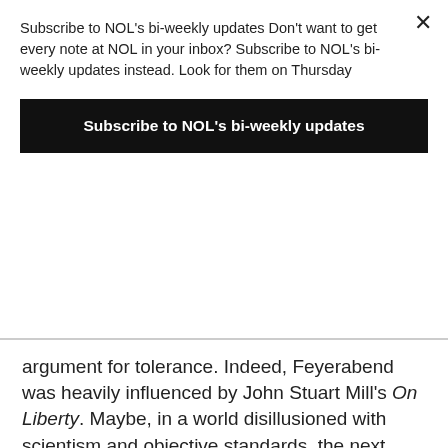Subscribe to NOL's bi-weekly updates Don't want to get every note at NOL in your inbox? Subscribe to NOL's bi-weekly updates instead. Look for them on Thursday
Subscribe to NOL's bi-weekly updates
argument for tolerance. Indeed, Feyerabend was heavily influenced by John Stuart Mill's On Liberty. Maybe, in a world disillusioned with scientism and objective standards, the next cultural move is multilateral acceptance and tolerance for each others' ideas.
This has not been the result of postmodern revelations, though. The 2016 election featured the victory of an